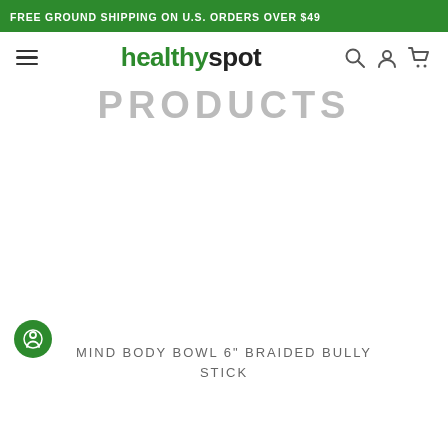FREE GROUND SHIPPING ON U.S. ORDERS OVER $49
healthyspot
PRODUCTS
[Figure (other): Product image area, empty/white]
MIND BODY BOWL 6" BRAIDED BULLY STICK